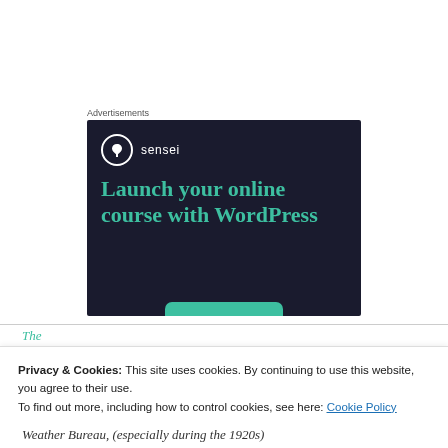Advertisements
[Figure (illustration): Dark navy advertisement banner for 'sensei' with a tree logo in a white circle, teal headline text reading 'Launch your online course with WordPress', and a teal rounded button at the bottom.]
The
Privacy & Cookies: This site uses cookies. By continuing to use this website, you agree to their use.
To find out more, including how to control cookies, see here: Cookie Policy
Close and accept
Weather Bureau, (especially during the 1920s)